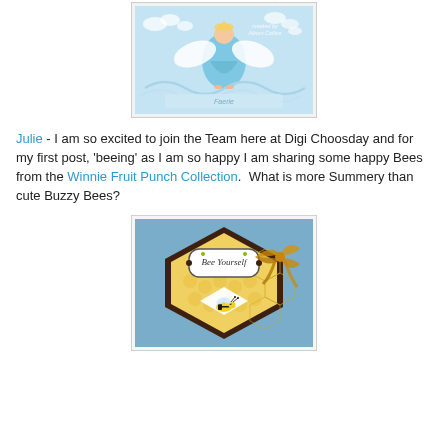[Figure (photo): Craft card featuring an angel figure in blue with decorative wave embellishments and text 'created by' watermark on a light blue cloud background]
Julie - I am so excited to join the Team here at Digi Choosday and for my first post, 'beeing' as I am so happy I am sharing some happy Bees from the Winnie Fruit Punch Collection.  What is more Summery than cute Buzzy Bees?
[Figure (photo): Craft card with bee theme - hexagonal dark brown card with yellow honeycomb pattern paper, label reading 'Bee Yourself', golden ribbon bow, and a cute cartoon bee on white panel]